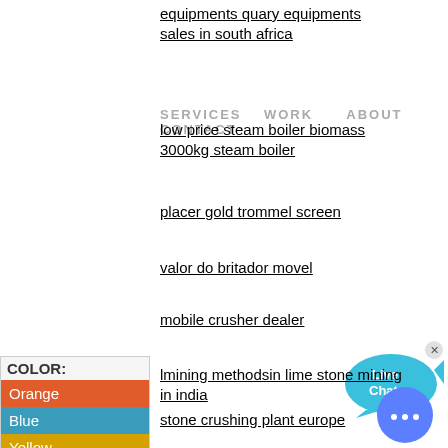equipments quary equipments sales in south africa
SERVICES   WORK      ABOUT   CONTACT
low price steam boiler biomass 3000kg steam boiler
placer gold trommel screen
valor do britador movel
[Figure (illustration): Live Chat speech bubble with fish icon and X close button]
mobile crusher dealer
lmining methodsin lime stone mining in india
[Figure (table-as-image): Color swatches panel showing COLOR: label with Orange, Blue, Yellow rows]
stone crushing plant europe
crushers machines dust suction
study of hydraulic machines
[Figure (illustration): Messenger-style chat bubble icon in blue circle]
lproject report on line impact crusher